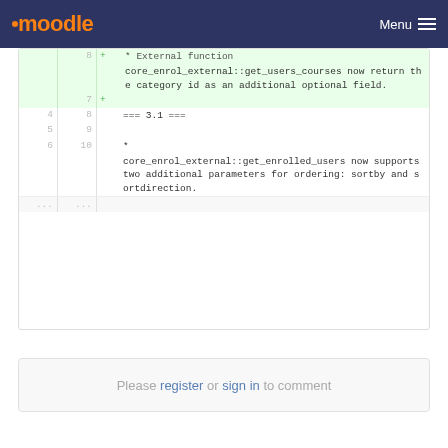moodle  Menu
[Figure (screenshot): Code diff view showing two sections: an added line (line 7) with text about core_enrol_external::get_users_courses returning category id as an additional optional field (=== 3.2 ===), and normal lines 4-10 showing === 3.1 === section with core_enrol_external::get_enrolled_users supporting two additional parameters for ordering: sortby and sortdirection.]
Please register or sign in to comment